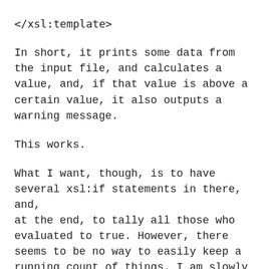</xsl:template>
In short, it prints some data from the input file, and calculates a value, and, if that value is above a certain value, it also outputs a warning message.
This works.
What I want, though, is to have several xsl:if statements in there, and, at the end, to tally all those who evaluated to true. However, there seems to be no way to easily keep a running count of things. I am slowly begining to suspect this is by design. I am also aware I